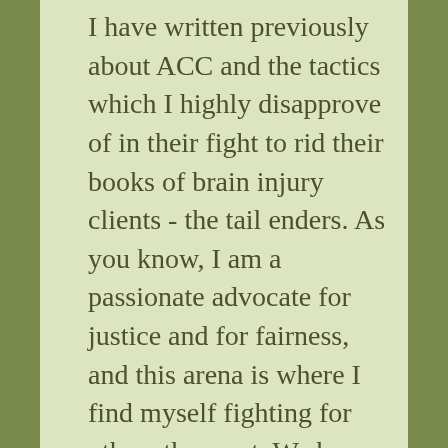I have written previously about ACC and the tactics which I highly disapprove of in their fight to rid their books of brain injury clients - the tail enders. As you know, I am a passionate advocate for justice and for fairness, and this arena is where I find myself fighting for others the most. We have a pretty sound strategy now in how we approach ACC for clients, which is based on what I have learnt